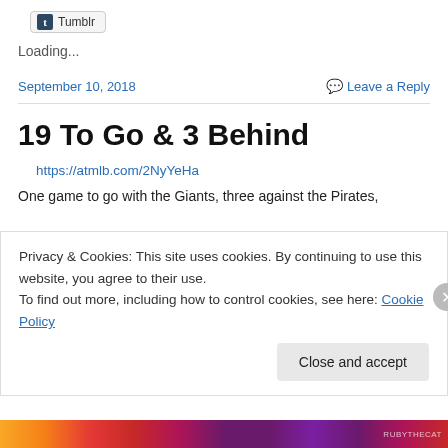[Figure (logo): Tumblr share button with 't' icon]
Loading...
September 10, 2018   Leave a Reply
19 To Go & 3 Behind
https://atmlb.com/2NyYeHa
One game to go with the Giants, three against the Pirates,
Privacy & Cookies: This site uses cookies. By continuing to use this website, you agree to their use.
To find out more, including how to control cookies, see here: Cookie Policy